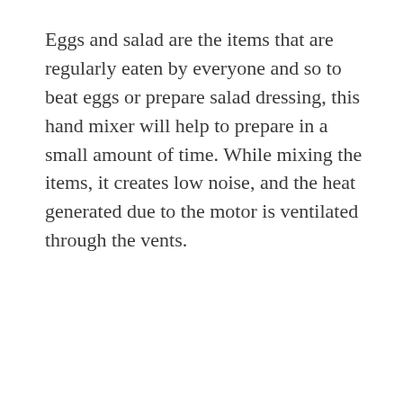Eggs and salad are the items that are regularly eaten by everyone and so to beat eggs or prepare salad dressing, this hand mixer will help to prepare in a small amount of time. While mixing the items, it creates low noise, and the heat generated due to the motor is ventilated through the vents.